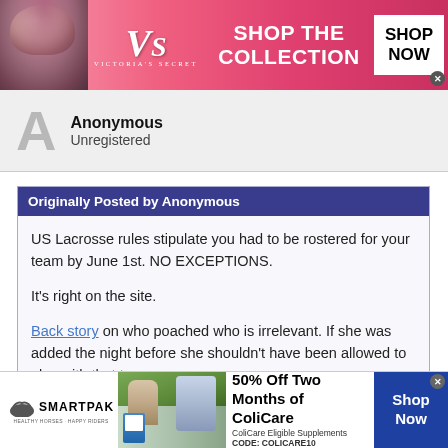[Figure (screenshot): Victoria's Secret banner advertisement with pink background, model, VS logo, 'SHOP THE COLLECTION' text, and 'SHOP NOW' button]
Anonymous
Unregistered
Originally Posted by Anonymous
US Lacrosse rules stipulate you had to be rostered for your team by June 1st. NO EXCEPTIONS.

It's right on the site.

Back story on who poached who is irrelevant. If she was added the night before she shouldn't have been allowed to play with that team.
[Figure (screenshot): SmartPak advertisement: '50% Off Two Months of ColiCare, ColiCare Eligible Supplements, CODE: COLICARE10' with horse image and Shop Now button]